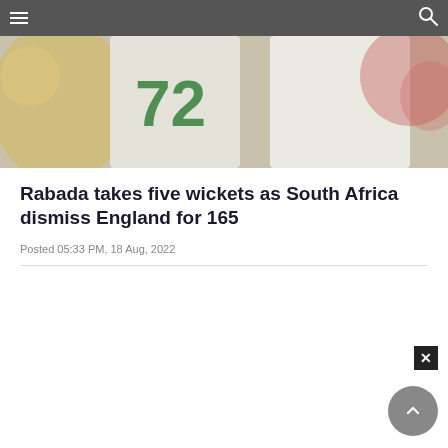Navigation bar with hamburger menu and search icon
[Figure (photo): Cricket players in white jerseys, one with number 72 in green, on a cricket field with crowd in background]
Rabada takes five wickets as South Africa dismiss England for 165
Posted 05:33 PM, 18 Aug, 2022